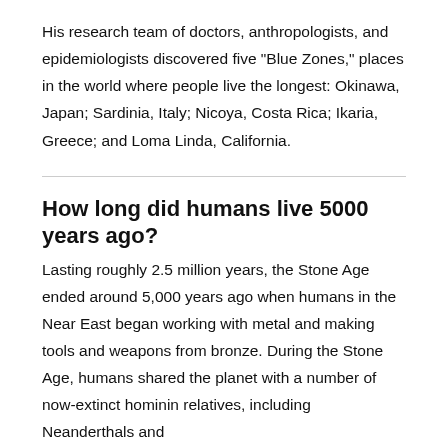His research team of doctors, anthropologists, and epidemiologists discovered five "Blue Zones," places in the world where people live the longest: Okinawa, Japan; Sardinia, Italy; Nicoya, Costa Rica; Ikaria, Greece; and Loma Linda, California.
How long did humans live 5000 years ago?
Lasting roughly 2.5 million years, the Stone Age ended around 5,000 years ago when humans in the Near East began working with metal and making tools and weapons from bronze. During the Stone Age, humans shared the planet with a number of now-extinct hominin relatives, including Neanderthals and